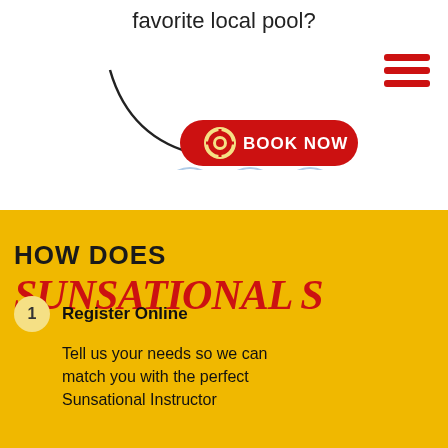favorite local pool?
[Figure (illustration): Red hamburger menu icon (three horizontal red lines) in top right corner]
[Figure (illustration): Curved black arrow pointing to a red rounded button labeled BOOK NOW with a life preserver ring icon. Water wave decorative element below the button.]
HOW DOES Sunsational S
1 Register Online
Tell us your needs so we can match you with the perfect Sunsational Instructor